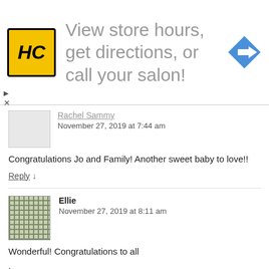[Figure (screenshot): Advertisement banner for HC (Hair Club or similar) with yellow logo, text 'View store hours, get directions, or call your salon!' and a blue diamond-shaped navigation arrow icon on the right.]
Rachel Samiliy
November 27, 2019 at 7:44 am
Congratulations Jo and Family! Another sweet baby to love!!
Reply ↓
Ellie
November 27, 2019 at 8:11 am
Wonderful! Congratulations to all
,